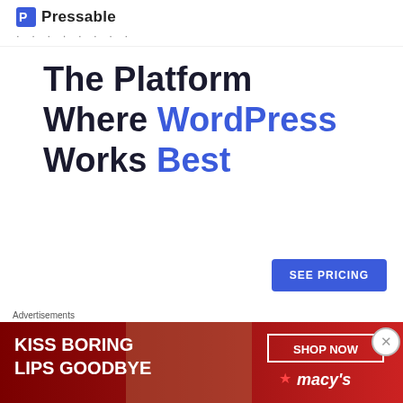[Figure (logo): Pressable logo with icon and dotted line below]
The Platform Where WordPress Works Best
SEE PRICING
REPORT THIS AD
Crystal Reed is your new crush.
Crystal Reed is absolutely fantastic as Abby so
Advertisements
[Figure (photo): Macy's advertisement: KISS BORING LIPS GOODBYE with SHOP NOW button and Macy's logo, showing a woman's face with red lips]